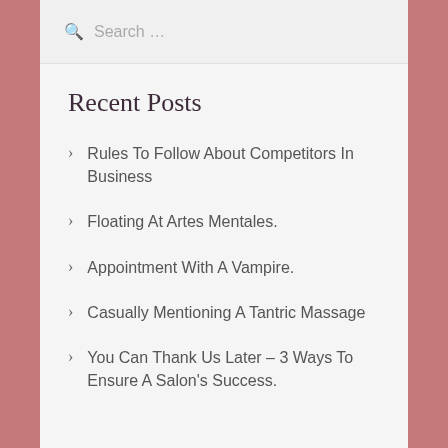Search …
Recent Posts
Rules To Follow About Competitors In Business
Floating At Artes Mentales.
Appointment With A Vampire.
Casually Mentioning A Tantric Massage
You Can Thank Us Later – 3 Ways To Ensure A Salon's Success.